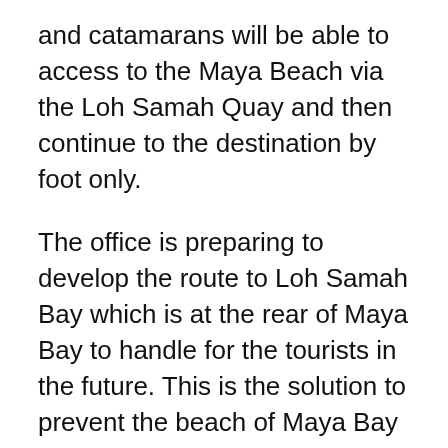and catamarans will be able to access to the Maya Beach via the Loh Samah Quay and then continue to the destination by foot only.
The office is preparing to develop the route to Loh Samah Bay which is at the rear of Maya Bay to handle for the tourists in the future. This is the solution to prevent the beach of Maya Bay from the anchoring of the boats that is the primary cause to destroy the coral reef and the beach and subsequently the environment of the location.